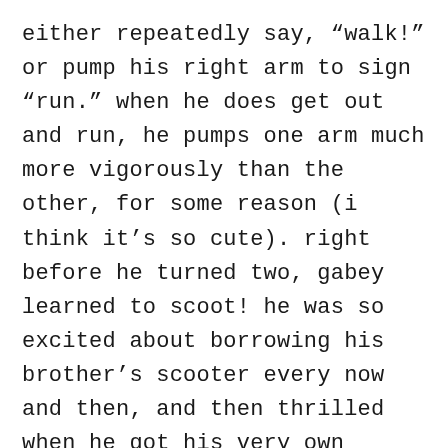either repeatedly say, “walk!” or pump his right arm to sign “run.” when he does get out and run, he pumps one arm much more vigorously than the other, for some reason (i think it’s so cute). right before he turned two, gabey learned to scoot! he was so excited about borrowing his brother’s scooter every now and then, and then thrilled when he got his very own scooter for his birthday! he’s still very much working on his scooting skills, but he loves it!